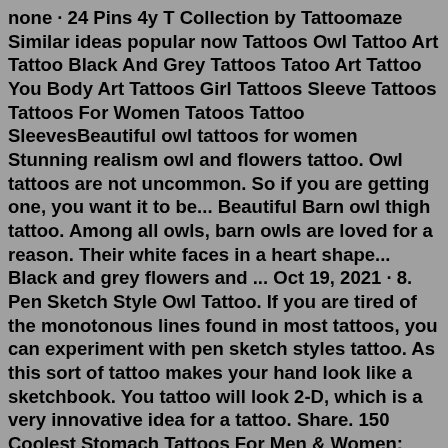none · 24 Pins 4y T Collection by Tattoomaze Similar ideas popular now Tattoos Owl Tattoo Art Tattoo Black And Grey Tattoos Tatoo Art Tattoo You Body Art Tattoos Girl Tattoos Sleeve Tattoos Tattoos For Women Tatoos Tattoo SleevesBeautiful owl tattoos for women Stunning realism owl and flowers tattoo. Owl tattoos are not uncommon. So if you are getting one, you want it to be... Beautiful Barn owl thigh tattoo. Among all owls, barn owls are loved for a reason. Their white faces in a heart shape... Black and grey flowers and ... Oct 19, 2021 · 8. Pen Sketch Style Owl Tattoo. If you are tired of the monotonous lines found in most tattoos, you can experiment with pen sketch styles tattoo. As this sort of tattoo makes your hand look like a sketchbook. You tattoo will look 2-D, which is a very innovative idea for a tattoo. Share. 150 Coolest Stomach Tattoos For Men & Women; Ideal Placement of Owl Tattoos. A right tattoo placement compliments a right owl tattoo design. The owl figure inherently has intricate and rich details. Although a silhouette alone is easily recognizable and could stand